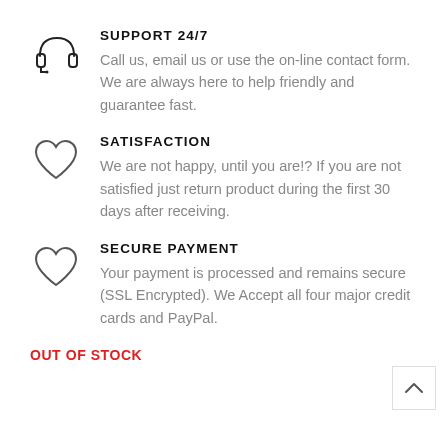[Figure (illustration): Headset/headphones icon (circle with ear cups and microphone)]
SUPPORT 24/7
Call us, email us or use the on-line contact form. We are always here to help friendly and guarantee fast.
[Figure (illustration): Heart icon (outline)]
SATISFACTION
We are not happy, until you are!? If you are not satisfied just return product during the first 30 days after receiving.
[Figure (illustration): Heart icon (outline)]
SECURE PAYMENT
Your payment is processed and remains secure (SSL Encrypted). We Accept all four major credit cards and PayPal.
OUT OF STOCK